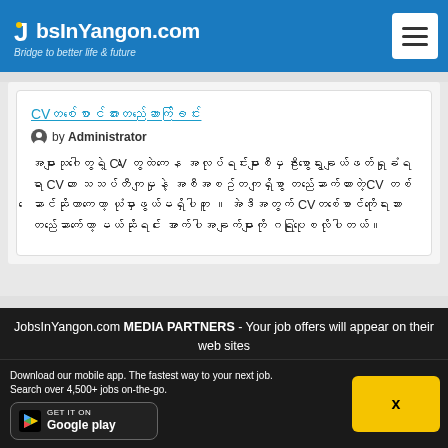JobsInYangon.com — Bridge to better life & future
CVတစ်စောင်အားတည်ဆောက်ခြင်း
by Administrator
အများသုဂါတွေရဲ့ CV တွေထဲကနေ အလုပ်ရင်းများစီမှ ဦးစွာရွေးချယ်ဖတ်ရှုခံရရာ CVဟာ သေသပ်တီကျမှုနဲ့ အစီအစဥ်တကျရှိစွာ တည်ဆောက်ထားတဲ့CV တစ်ဆောင်ဆိုတာကတော့ ယုံမှားဖွယ်မရှိပါဘူး ။ အဲဒီအတွက် CVတစ်စောင်ကိုရေးသား တည်ဆောက်တော့ မယ်ဆိုရင် အောက်ပါအချက်များကို ဂရုပြုစေလိုပါတယ်။
JobsInYangon.com MEDIA PARTNERS - Your job offers will appear on their web sites
Download our mobile app. The fastest way to your next job.
Search over 4,500+ jobs on-the-go.
[Figure (logo): Google Play store button]
x